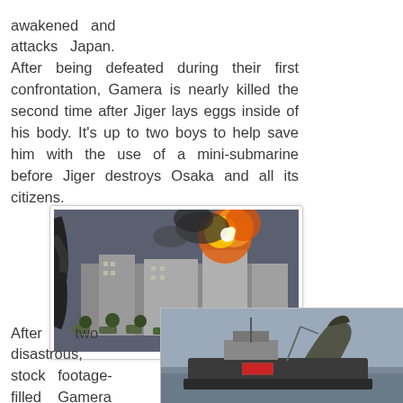awakened and attacks Japan. After being defeated during their first confrontation, Gamera is nearly killed the second time after Jiger lays eggs inside of his body. It's up to two boys to help save him with the use of a mini-submarine before Jiger destroys Osaka and all its citizens.
[Figure (photo): A movie still showing a city scene with buildings, explosions, fire, and smoke in the background, with military tanks or vehicles in the foreground.]
After two disastrous, stock footage-filled Gamera
[Figure (photo): A movie still showing what appears to be a large creature or monster near a ship on water.]